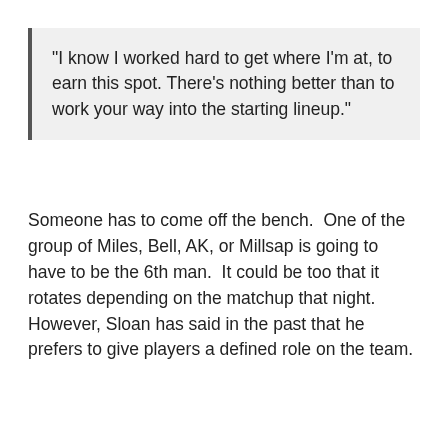"I know I worked hard to get where I'm at, to earn this spot. There's nothing better than to work your way into the starting lineup."
Someone has to come off the bench.  One of the group of Miles, Bell, AK, or Millsap is going to have to be the 6th man.  It could be too that it rotates depending on the matchup that night.  However, Sloan has said in the past that he prefers to give players a defined role on the team.